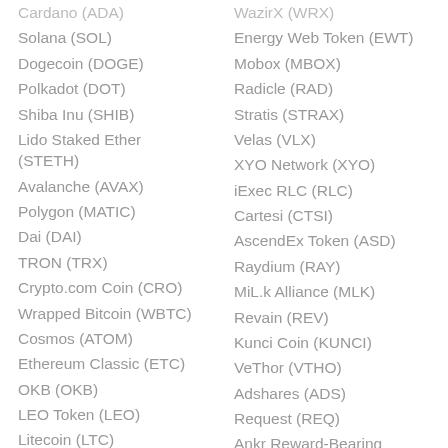Cardano (ADA)
WazirX (WRX)
Solana (SOL)
Energy Web Token (EWT)
Dogecoin (DOGE)
Mobox (MBOX)
Polkadot (DOT)
Radicle (RAD)
Shiba Inu (SHIB)
Stratis (STRAX)
Lido Staked Ether (STETH)
Velas (VLX)
Avalanche (AVAX)
XYO Network (XYO)
Polygon (MATIC)
iExec RLC (RLC)
Dai (DAI)
Cartesi (CTSI)
TRON (TRX)
AscendEx Token (ASD)
Crypto.com Coin (CRO)
Raydium (RAY)
Wrapped Bitcoin (WBTC)
MiL.k Alliance (MLK)
Cosmos (ATOM)
Revain (REV)
Ethereum Classic (ETC)
Kunci Coin (KUNCI)
OKB (OKB)
VeThor (VTHO)
LEO Token (LEO)
Adshares (ADS)
Litecoin (LTC)
Request (REQ)
FTX (FTT)
Ankr Reward-Bearing Staked ETH (AETHC)
Near (NEAR)
Bitcicoin (BICO)